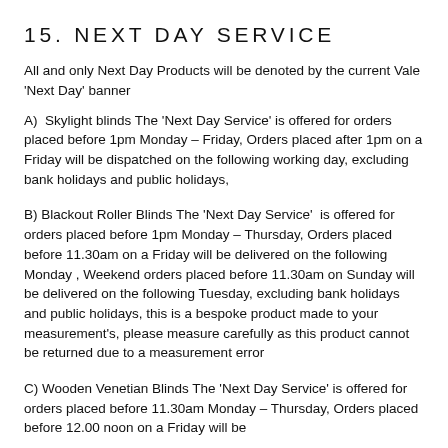15. NEXT DAY SERVICE
All and only Next Day Products will be denoted by the current Vale 'Next Day' banner
A)  Skylight blinds The 'Next Day Service' is offered for orders placed before 1pm Monday – Friday, Orders placed after 1pm on a Friday will be dispatched on the following working day, excluding bank holidays and public holidays,
B) Blackout Roller Blinds The 'Next Day Service'  is offered for orders placed before 1pm Monday – Thursday, Orders placed before 11.30am on a Friday will be delivered on the following Monday , Weekend orders placed before 11.30am on Sunday will be delivered on the following Tuesday, excluding bank holidays and public holidays, this is a bespoke product made to your measurement's, please measure carefully as this product cannot be returned due to a measurement error
C) Wooden Venetian Blinds The 'Next Day Service' is offered for orders placed before 11.30am Monday – Thursday, Orders placed before 12.00 noon on a Friday will be